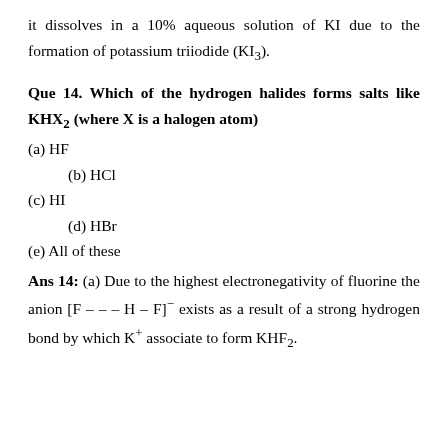it dissolves in a 10% aqueous solution of KI due to the formation of potassium triiodide (KI₃).
Que 14. Which of the hydrogen halides forms salts like KHX₂ (where X is a halogen atom)
(a) HF
(b) HCl
(c) HI
(d) HBr
(e) All of these
Ans 14: (a) Due to the highest electronegativity of fluorine the anion [F – – – H – F]⁻ exists as a result of a strong hydrogen bond by which K⁺ associate to form KHF₂.